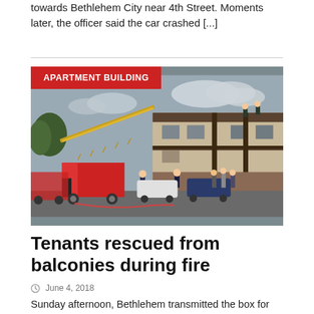towards Bethlehem City near 4th Street. Moments later, the officer said the car crashed [...]
[Figure (photo): Firefighters at an apartment building fire. A red fire truck with extended ladder is visible, with firefighters on the roof and in the parking lot. Several cars are parked nearby. Red category badge reads 'APARTMENT BUILDING'.]
Tenants rescued from balconies during fire
June 4, 2018
Sunday afternoon, Bethlehem transmitted the box for the